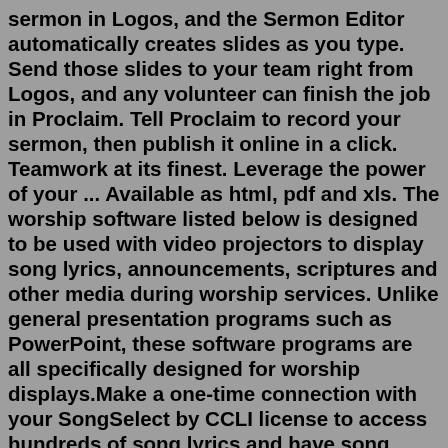sermon in Logos, and the Sermon Editor automatically creates slides as you type. Send those slides to your team right from Logos, and any volunteer can finish the job in Proclaim. Tell Proclaim to record your sermon, then publish it online in a click. Teamwork at its finest. Leverage the power of your ... Available as html, pdf and xls. The worship software listed below is designed to be used with video projectors to display song lyrics, announcements, scriptures and other media during worship services. Unlike general presentation programs such as PowerPoint, these software programs are all specifically designed for worship displays.Make a one-time connection with your SongSelect by CCLI license to access hundreds of song lyrics and have song slides in seconds. We even track your usage to make reporting easy. We partner with some of the most popular church media creators to bring you cutting-edge designs, right in Proclaim. Import your service plans to Proclaim with a click.Church Preaching Slides. Biblically-based church preaching